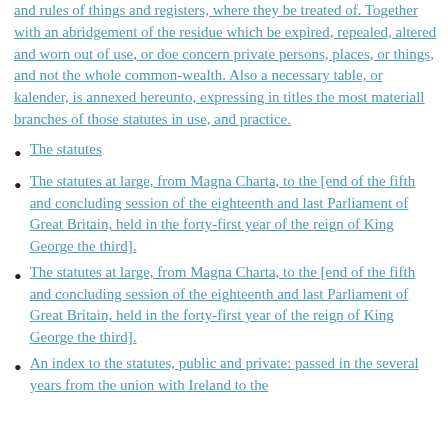and rules of things and registers, where they be treated of. Together with an abridgement of the residue which be expired, repealed, altered and worn out of use, or doe concern private persons, places, or things, and not the whole common-wealth. Also a necessary table, or kalender, is annexed hereunto, expressing in titles the most materiall branches of those statutes in use, and practice.
The statutes
The statutes at large, from Magna Charta, to the [end of the fifth and concluding session of the eighteenth and last Parliament of Great Britain, held in the forty-first year of the reign of King George the third].
The statutes at large, from Magna Charta, to the [end of the fifth and concluding session of the eighteenth and last Parliament of Great Britain, held in the forty-first year of the reign of King George the third].
An index to the statutes, public and private: passed in the several years from the union with Ireland to the [continuation of the first to the Parliament of the United]